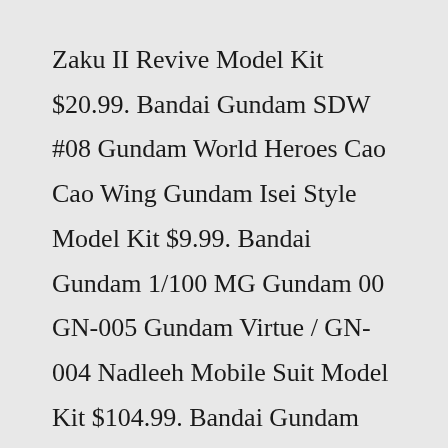Zaku II Revive Model Kit $20.99. Bandai Gundam SDW #08 Gundam World Heroes Cao Cao Wing Gundam Isei Style Model Kit $9.99. Bandai Gundam 1/100 MG Gundam 00 GN-005 Gundam Virtue / GN-004 Nadleeh Mobile Suit Model Kit $104.99. Bandai Gundam SDW #10 Gundam World Heroes Arsene Gundam X Model Kit $9.99.Unique Looney Tunes Collectible Statues, Figures and Dioramas.